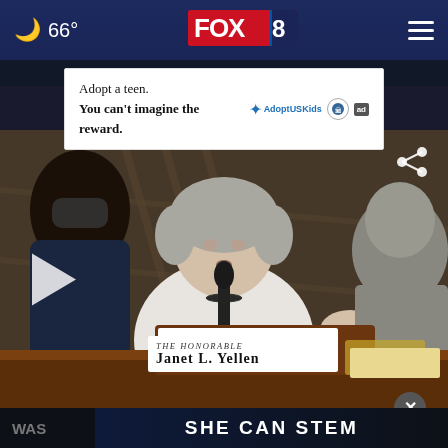🌙 66° FOX 8 ≡
[Figure (screenshot): Advertisement banner: 'Adopt a teen. You can't imagine the reward.' with Adopt US Kids logo and ad badge]
[Figure (photo): Video screenshot of Janet Yellen (The Honorable Janet L. Yellen) speaking at a Senate hearing, with a play button overlay, share icon, and name placard visible]
WAS
SHE CAN STEM